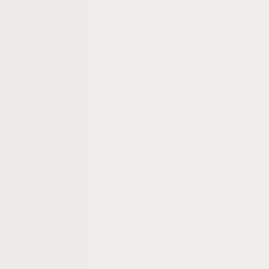stainless is for the extra mass also and for its ability for repeat temperature cycles or robustness to ther